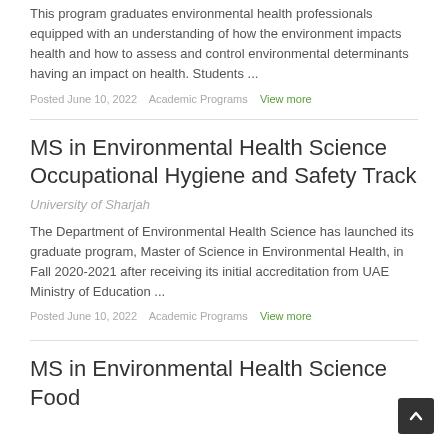This program graduates environmental health professionals equipped with an understanding of how the environment impacts health and how to assess and control environmental determinants having an impact on health. Students ...
Posted June 10, 2022   Academic Programs   View more
MS in Environmental Health Science Occupational Hygiene and Safety Track
University of Sharjah
The Department of Environmental Health Science has launched its graduate program, Master of Science in Environmental Health, in Fall 2020-2021 after receiving its initial accreditation from UAE Ministry of Education ...
Posted June 10, 2022   Academic Programs   View more
MS in Environmental Health Science Food